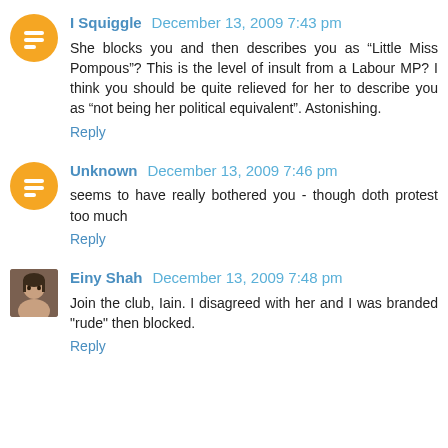I Squiggle  December 13, 2009 7:43 pm
She blocks you and then describes you as “Little Miss Pompous”? This is the level of insult from a Labour MP? I think you should be quite relieved for her to describe you as “not being her political equivalent”. Astonishing.
Reply
Unknown  December 13, 2009 7:46 pm
seems to have really bothered you - though doth protest too much
Reply
Einy Shah  December 13, 2009 7:48 pm
Join the club, Iain. I disagreed with her and I was branded "rude" then blocked.
Reply